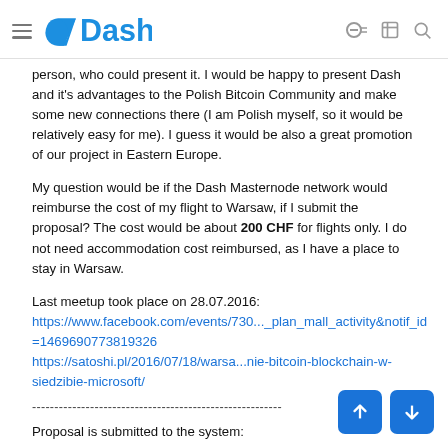Dash
person, who could present it. I would be happy to present Dash and it's advantages to the Polish Bitcoin Community and make some new connections there (I am Polish myself, so it would be relatively easy for me). I guess it would be also a great promotion of our project in Eastern Europe.
My question would be if the Dash Masternode network would reimburse the cost of my flight to Warsaw, if I submit the proposal? The cost would be about 200 CHF for flights only. I do not need accommodation cost reimbursed, as I have a place to stay in Warsaw.
Last meetup took place on 28.07.2016:
https://www.facebook.com/events/730..._plan_mall_activity&notif_id=1469690773819326
https://satoshi.pl/2016/07/18/warsa...nie-bitcoin-blockchain-w-siedzibie-microsoft/
Proposal is submitted to the system:
Dear Masternode Owners and Community Members,